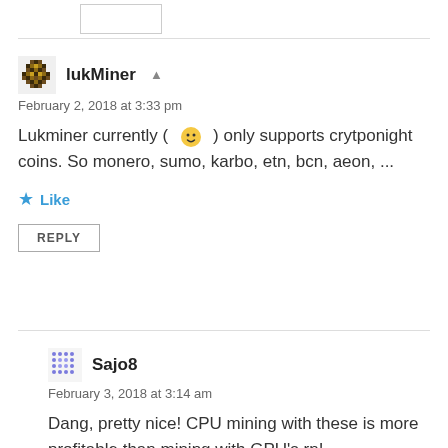[Figure (other): Small rectangular placeholder box at top left]
lukMiner
February 2, 2018 at 3:33 pm
Lukminer currently ( 🙂 ) only supports crytponight coins. So monero, sumo, karbo, etn, bcn, aeon, ...
Like
REPLY
Sajo8
February 3, 2018 at 3:14 am
Dang, pretty nice! CPU mining with these is more profitable than mining with GPU's rn!